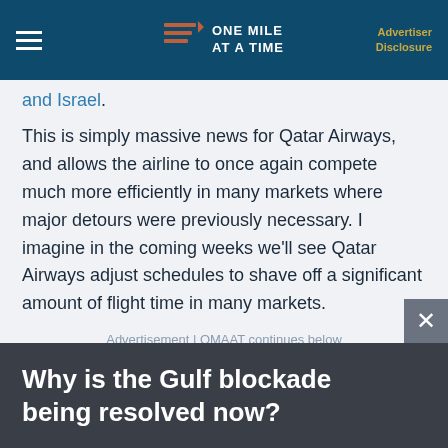ONE MILE AT A TIME | Advertiser Disclosure
and Israel.
This is simply massive news for Qatar Airways, and allows the airline to once again compete much more efficiently in many markets where major detours were previously necessary. I imagine in the coming weeks we'll see Qatar Airways adjust schedules to shave off a significant amount of flight time in many markets.
Advertisement | OMAAT continues below
Why is the Gulf blockade being resolved now?